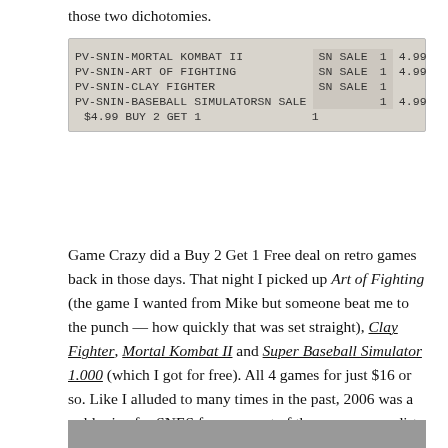those two dichotomies.
[Figure (photo): A receipt image showing items: PV-SNIN-MORTAL KOMBAT II SN SALE 1 4.99, PV-SNIN-ART OF FIGHTING SN SALE 1 4.99, PV-SNIN-CLAY FIGHTER SN SALE 1, PV-SNIN-BASEBALL SIMULATOR SN SALE 1 4.99, $4.99 BUY 2 GET 1 1]
Game Crazy did a Buy 2 Get 1 Free deal on retro games back in those days. That night I picked up Art of Fighting (the game I wanted from Mike but someone beat me to the punch — how quickly that was set straight), Clay Fighter, Mortal Kombat II and Super Baseball Simulator 1.000 (which I got for free). All 4 games for just $16 or so. Like I alluded to many times in the past, 2006 was a gold mine for SNES fans as most of the games were dirt cheap to acquire.
[Figure (photo): Bottom of page image, partially visible]